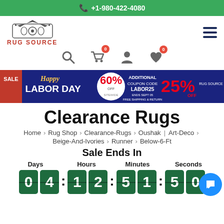+1-980-422-4080
[Figure (logo): Rug Source logo with crown and red text RUG SOURCE]
[Figure (infographic): Navigation icons: search, shopping cart with 0 badge, user profile, heart/wishlist with 0 badge]
[Figure (infographic): Sale banner: Happy Labor Day SALE 60% OFF SITEWIDE ADDITIONAL COUPON CODE LABOR25 ENDS SEPT 05 FREE SHIPPING & RETURN 25% OFF with Rug Source logo]
Clearance Rugs
Home > Rug Shop > Clearance-Rugs > Oushak | Art-Deco > Beige-And-Ivories > Runner > Below-6-Ft
Sale Ends In
Days  Hours  Minutes  Seconds
04 : 12 : 51 : 50